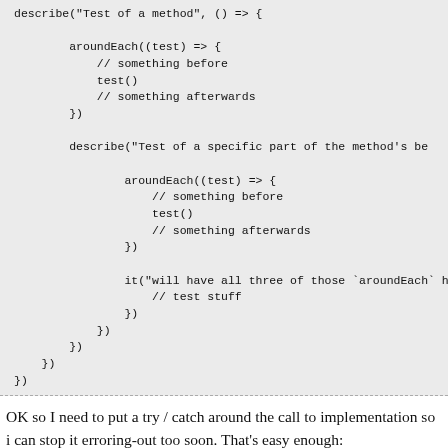[Figure (screenshot): Code block showing a describe/aroundEach/it test structure with nested describe and aroundEach calls]
OK so I need to put a try / catch around the call to implementation so i can stop it erroring-out too soon. That's easy enough:
[Figure (screenshot): Code block showing decoratedImplementation = tinyTest.contexts .filter/.reduce/.reduce chain]